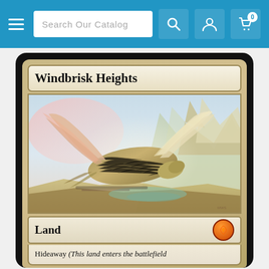Search Our Catalog
[Figure (photo): Magic: The Gathering card 'Windbrisk Heights' - a Land card with Hideaway ability, showing fantasy artwork of a large bird-like creature flying over a mountainous landscape with soft pastel colors.]
Windbrisk Heights
Land
Hideaway (This land enters the battlefield